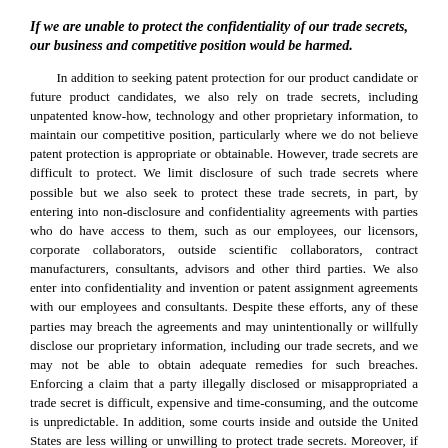If we are unable to protect the confidentiality of our trade secrets, our business and competitive position would be harmed.
In addition to seeking patent protection for our product candidate or future product candidates, we also rely on trade secrets, including unpatented know-how, technology and other proprietary information, to maintain our competitive position, particularly where we do not believe patent protection is appropriate or obtainable. However, trade secrets are difficult to protect. We limit disclosure of such trade secrets where possible but we also seek to protect these trade secrets, in part, by entering into non-disclosure and confidentiality agreements with parties who do have access to them, such as our employees, our licensors, corporate collaborators, outside scientific collaborators, contract manufacturers, consultants, advisors and other third parties. We also enter into confidentiality and invention or patent assignment agreements with our employees and consultants. Despite these efforts, any of these parties may breach the agreements and may unintentionally or willfully disclose our proprietary information, including our trade secrets, and we may not be able to obtain adequate remedies for such breaches. Enforcing a claim that a party illegally disclosed or misappropriated a trade secret is difficult, expensive and time-consuming, and the outcome is unpredictable. In addition, some courts inside and outside the United States are less willing or unwilling to protect trade secrets. Moreover, if any of our trade secrets were to be lawfully obtained or independently developed by a competitor, we would have no right to prevent them, or those to whom they communicate it, from using that technology or information to compete with us. If any of our trade secrets were to be disclosed to or